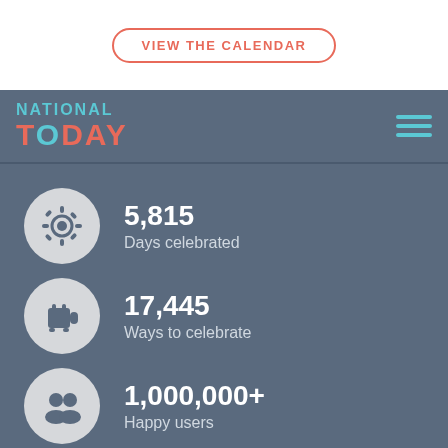VIEW THE CALENDAR
[Figure (logo): National Today logo with navigation bar and hamburger menu]
5,815
Days celebrated
17,445
Ways to celebrate
1,000,000+
Happy users
[Figure (infographic): Social share buttons: Pinterest, Twitter, Facebook]